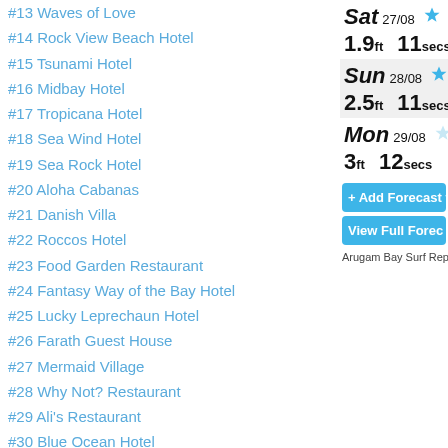#13 Waves of Love
#14 Rock View Beach Hotel
#15 Tsunami Hotel
#16 Midbay Hotel
#17 Tropicana Hotel
#18 Sea Wind Hotel
#19 Sea Rock Hotel
#20 Aloha Cabanas
#21 Danish Villa
#22 Roccos Hotel
#23 Food Garden Restaurant
#24 Fantasy Way of the Bay Hotel
#25 Lucky Leprechaun Hotel
#26 Farath Guest House
#27 Mermaid Village
#28 Why Not? Restaurant
#29 Ali's Restaurant
#30 Blue Ocean Hotel
#31 Royal Garden Hotel
#32 Tri Star Hotel
#33 Sunrise Hotel
#34 Orient Beach Restaurant
#35 Shanoon Beach Resort
#36 Zara Beach Rest
#37 Hideaway Hotel
#38 Cafe del Mar
#39 Arugam Bay Surf Resort
[Figure (infographic): Surf forecast widget showing Sat 27/08 (1 star, 1.9ft, 11secs), Sun 28/08 (2 stars, 2.5ft, 11secs), Mon 29/08 (2 light stars, 3ft, 12secs), with Add Forecast and View Full Forecast buttons, and Arugam Bay Surf Report label]